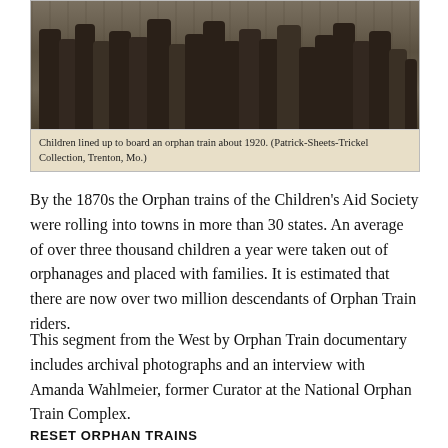[Figure (photo): Black and white photograph of children lined up to board an orphan train, circa 1920. The image shows a row of children standing, visible from approximately waist/hip down, showing their legs and feet.]
Children lined up to board an orphan train about 1920. (Patrick-Sheets-Trickel Collection, Trenton, Mo.)
By the 1870s the Orphan trains of the Children's Aid Society were rolling into towns in more than 30 states. An average of over three thousand children a year were taken out of orphanages and placed with families. It is estimated that there are now over two million descendants of Orphan Train riders.
This segment from the West by Orphan Train documentary includes archival photographs and an interview with Amanda Wahlmeier, former Curator at the National Orphan Train Complex.
RESET ORPHAN TRAINS